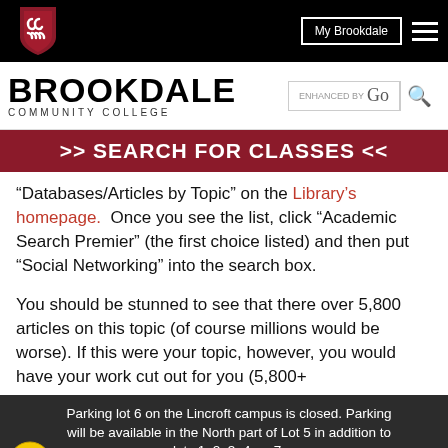My Brookdale | Navigation menu
[Figure (logo): Brookdale Community College logo with shield emblem and text]
[Figure (screenshot): Search box with 'ENHANCED BY Go' text]
>> SEARCH FOR CLASSES <<
“Databases/Articles by Topic” on the Library’s homepage.  Once you see the list, click “Academic Search Premier” (the first choice listed) and then put “Social Networking” into the search box.
You should be stunned to see that there over 5,800 articles on this topic (of course millions would be worse). If this were your topic, however, you would have your work cut out for you (5,800+
Parking lot 6 on the Lincroft campus is closed. Parking will be available in the North part of Lot 5 in addition to lots 1, 2, 3, 4, or 7.
Coming to Campus: COVID-19 Information